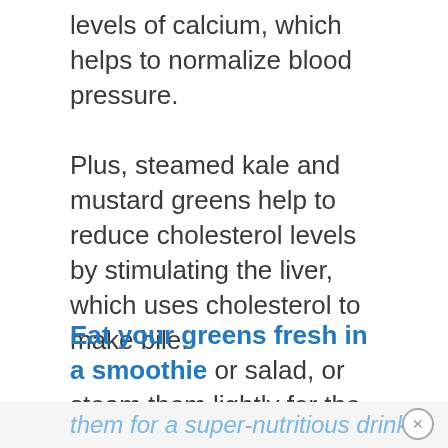levels of calcium, which helps to normalize blood pressure.
Plus, steamed kale and mustard greens help to reduce cholesterol levels by stimulating the liver, which uses cholesterol to make bile.
Eat your greens fresh in a smoothie or salad, or steam them lightly for the best nutritional value.
Another great alternative is to juice them for a super-nutritious drink.